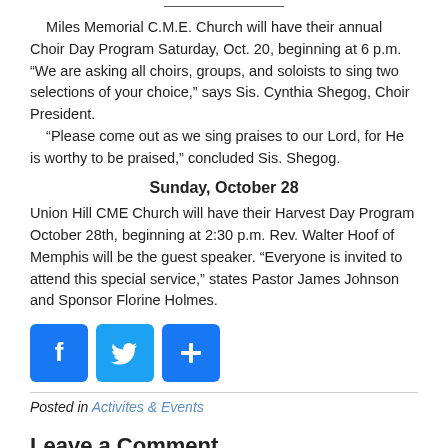Miles Memorial C.M.E. Church will have their annual Choir Day Program Saturday, Oct. 20, beginning at 6 p.m. “We are asking all choirs, groups, and soloists to sing two selections of your choice,” says Sis. Cynthia Shegog, Choir President.
“Please come out as we sing praises to our Lord, for He is worthy to be praised,” concluded Sis. Shegog.
Sunday, October 28
Union Hill CME Church will have their Harvest Day Program October 28th, beginning at 2:30 p.m. Rev. Walter Hoof of Memphis will be the guest speaker. “Everyone is invited to attend this special service,” states Pastor James Johnson and Sponsor Florine Holmes.
[Figure (other): Social sharing buttons: Facebook (blue), Twitter (blue), and a blue plus/share button]
Posted in Activites & Events
Leave a Comment